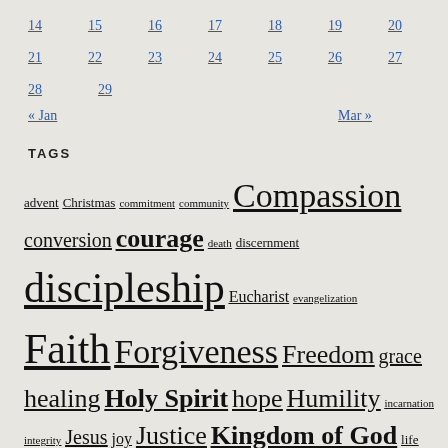14 15 16 17 18 19 20
21 22 23 24 25 26 27
28 29
« Jan   Mar »
TAGS
advent Christmas commitment community Compassion conversion courage death discernment discipleship Eucharist evangelization Faith Forgiveness Freedom grace healing Holy Spirit hope Humility incarnation integrity Jesus joy Justice Kingdom of God life Light listening love Mercy mission peace prayer Preaching repentance resurrection salvation sin suffering transformation trust trust in God Truth wisdom